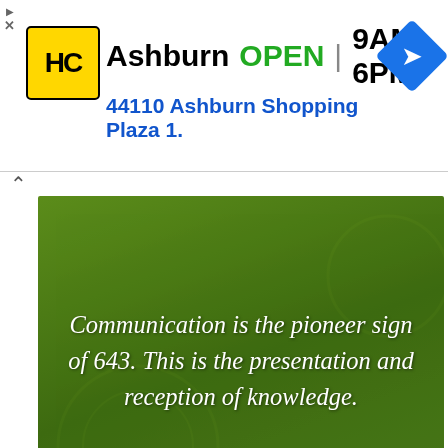[Figure (screenshot): Google ad banner for Hairclub (HC) in Ashburn showing HC logo, OPEN status, hours 9AM-6PM, address 44110 Ashburn Shopping Plaza 1., and navigation arrow icon]
[Figure (screenshot): Green banner image from SunSigns.Org with italic white text: Communication is the pioneer sign of 643. This is the presentation and reception of knowledge. SunSigns.Org logo bottom right.]
-ADVERTISEMENT-
Things You Should Know About 643
[Figure (screenshot): Video overlay on black background showing a circle icon on left and text: How To Open 7 Chakras - Meditation and Healing - SunSigns.Org]
[Figure (screenshot): Bottom advertisement bar showing Tally app ad with Fast credit card payoff text, Download Now button, and partial page text Additi welco / kindly leliver]